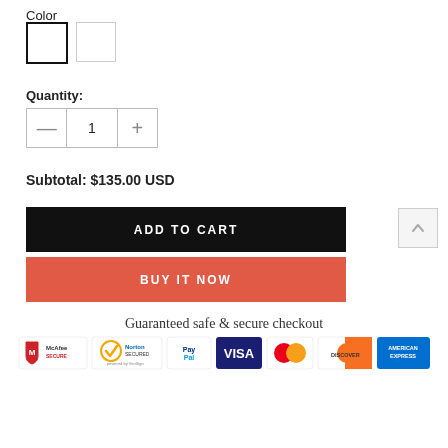Color
[Figure (other): Two color swatches: one with black border (selected), one with light gray border]
Quantity:
[Figure (other): Quantity stepper control showing minus button, 1, plus button]
Subtotal: $135.00 USD
[Figure (other): ADD TO CART black button]
[Figure (other): BUY IT NOW red/orange button]
Guaranteed safe & secure checkout
[Figure (other): Payment icons: McAfee SECURE, Norton SECURED powered by VeriSign, PayPal, VISA, Mastercard, DISCOVER, AMERICAN EXPRESS]